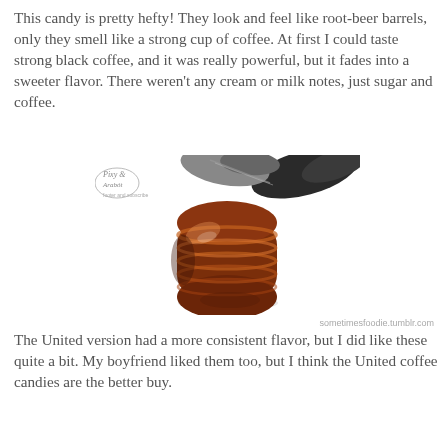This candy is pretty hefty! They look and feel like root-beer barrels, only they smell like a strong cup of coffee. At first I could taste strong black coffee, and it was really powerful, but it fades into a sweeter flavor. There weren't any cream or milk notes, just sugar and coffee.
[Figure (photo): Close-up photo of a brown coffee hard candy with ridged barrel shape, glossy surface with amber and dark brown stripes, sitting on a white background with dark candy wrappers behind it. A small logo watermark reads 'Pixy & Arabot' and website watermark reads 'sometimesfoodie.tumblr.com']
The United version had a more consistent flavor, but I did like these quite a bit. My boyfriend liked them too, but I think the United coffee candies are the better buy.